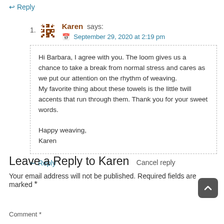↩ Reply
1. Karen says:
📅 September 29, 2020 at 2:19 pm
Hi Barbara, I agree with you. The loom gives us a chance to take a break from normal stress and cares as we put our attention on the rhythm of weaving.
My favorite thing about these towels is the little twill accents that run through them. Thank you for your sweet words.

Happy weaving,
Karen
↩ Reply
Leave a Reply to Karen Cancel reply
Your email address will not be published. Required fields are marked *